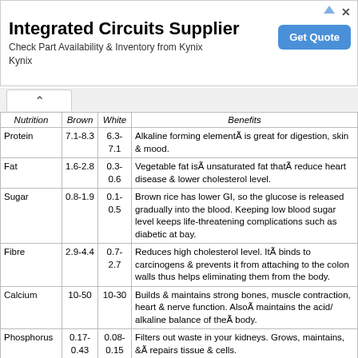[Figure (screenshot): Advertisement banner for Integrated Circuits Supplier - Kynix, with Get Quote button]
| Nutrition | Brown | White | Benefits |
| --- | --- | --- | --- |
| Protein | 7.1-8.3 | 6.3-7.1 | Alkaline forming elementÂ is great for digestion, skin & mood. |
| Fat | 1.6-2.8 | 0.3-0.6 | Vegetable fat isÂ unsaturated fat thatÂ reduce heart disease & lower cholesterol level. |
| Sugar | 0.8-1.9 | 0.1-0.5 | Brown rice has lower GI, so the glucose is released gradually into the blood. Keeping low blood sugar level keeps life-threatening complications such as diabetic at bay. |
| Fibre | 2.9-4.4 | 0.7-2.7 | Reduces high cholesterol level. ItÂ binds to carcinogens & prevents it from attaching to the colon walls thus helps eliminating them from the body. |
| Calcium | 10-50 | 10-30 | Builds & maintains strong bones, muscle contraction, heart & nerve function. AlsoÂ maintains the acid/ alkaline balance of theÂ body. |
| Phosphorus | 0.17-0.43 | 0.08-0.15 | Filters out waste in your kidneys. Grows, maintains, &Â repairs tissue & cells. |
| Iron | 1.4-5.2 | 0.3-0.8 | Makes haemoglobin that help carry carbon dioxide away from the cells & transport it back to the lungs. |
| B1 (Thiamin) | 0.4-0.6 | 0.07-0.17 | Vitamin B1 helps our body metabolise carbohydrates as energy fuel. |